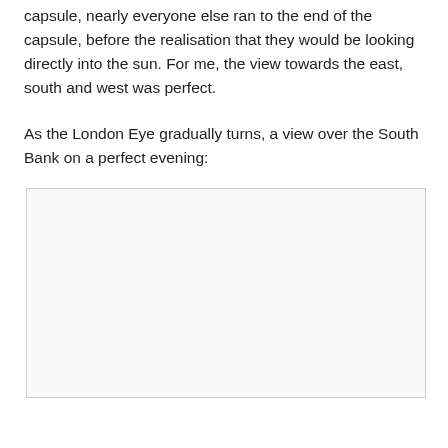capsule, nearly everyone else ran to the end of the capsule, before the realisation that they would be looking directly into the sun. For me, the view towards the east, south and west was perfect.
As the London Eye gradually turns, a view over the South Bank on a perfect evening:
[Figure (photo): A blank/placeholder photo box representing a view over the South Bank from the London Eye on a perfect evening.]